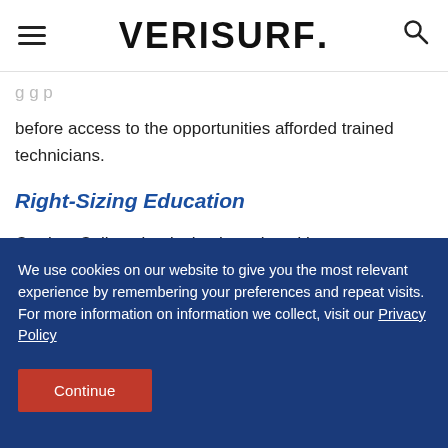VERISURF.
before access to the opportunities afforded trained technicians.
Right-Sizing Education
Cerritos College by design has placed its
We use cookies on our website to give you the most relevant experience by remembering your preferences and repeat visits.
For more information on information we collect, visit our Privacy Policy
Continue